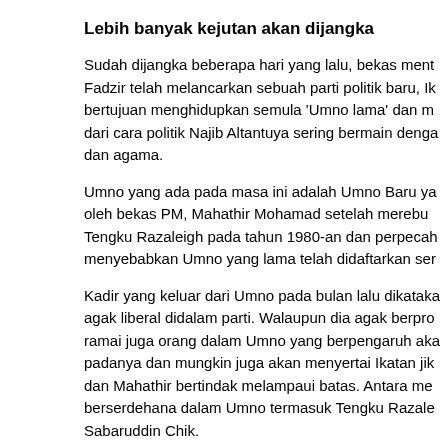Lebih banyak kejutan akan dijangka
Sudah dijangka beberapa hari yang lalu, bekas ment... Fadzir telah melancarkan sebuah parti politik baru, Ik... bertujuan menghidupkan semula 'Umno lama' dan m... dari cara politik Najib Altantuya sering bermain denga... dan agama.
Umno yang ada pada masa ini adalah Umno Baru ya... oleh bekas PM, Mahathir Mohamad setelah merebu... Tengku Razaleigh pada tahun 1980-an dan perpecah... menyebabkan Umno yang lama telah didaftarkan ser...
Kadir yang keluar dari Umno pada bulan lalu dikataka... agak liberal didalam parti. Walaupun dia agak berpro... ramai juga orang dalam Umno yang berpengaruh aka... padanya dan mungkin juga akan menyertai Ikatan jik... dan Mahathir bertindak melampaui batas. Antara me... berserdehana dalam Umno termasuk Tengku Razale... Sabaruddin Chik.